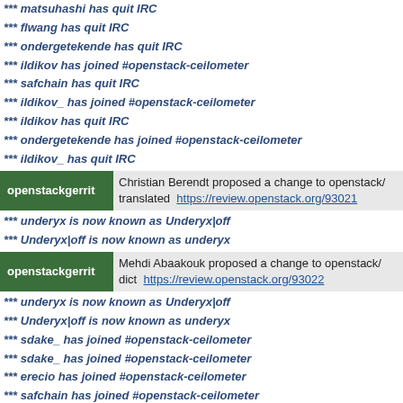*** matsuhashi has quit IRC
*** flwang has quit IRC
*** ondergetekende has quit IRC
*** ildikov has joined #openstack-ceilometer
*** safchain has quit IRC
*** ildikov_ has joined #openstack-ceilometer
*** ildikov has quit IRC
*** ondergetekende has joined #openstack-ceilometer
*** ildikov_ has quit IRC
openstackgerrit  Christian Berendt proposed a change to openstack/ translated  https://review.openstack.org/93021
*** underyx is now known as Underyx|off
*** Underyx|off is now known as underyx
openstackgerrit  Mehdi Abaakouk proposed a change to openstack/ dict  https://review.openstack.org/93022
*** underyx is now known as Underyx|off
*** Underyx|off is now known as underyx
*** sdake_ has joined #openstack-ceilometer
*** sdake_ has joined #openstack-ceilometer
*** erecio has joined #openstack-ceilometer
*** safchain has joined #openstack-ceilometer
openstackgerrit  Christian Berendt proposed a change to openstack/ translated  https://review.openstack.org/93021